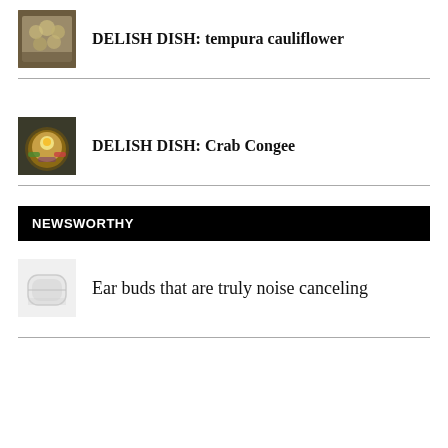[Figure (photo): Thumbnail of tempura cauliflower dish]
DELISH DISH: tempura cauliflower
[Figure (photo): Thumbnail of crab congee dish]
DELISH DISH: Crab Congee
NEWSWORTHY
[Figure (photo): Thumbnail of white wireless earbuds case]
Ear buds that are truly noise canceling